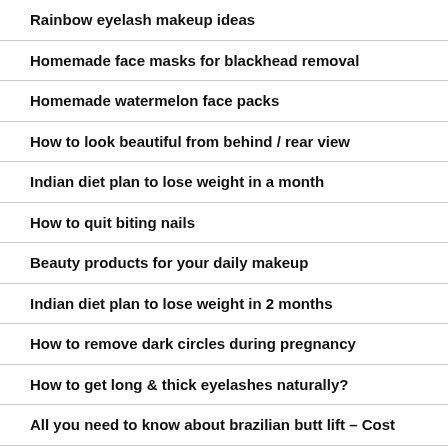Rainbow eyelash makeup ideas
Homemade face masks for blackhead removal
Homemade watermelon face packs
How to look beautiful from behind / rear view
Indian diet plan to lose weight in a month
How to quit biting nails
Beauty products for your daily makeup
Indian diet plan to lose weight in 2 months
How to remove dark circles during pregnancy
How to get long & thick eyelashes naturally?
All you need to know about brazilian butt lift – Cost